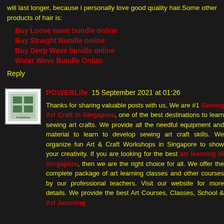will last longer, because i personally love good quality hair.Some other products of hair is:
Buy Loose wave bundle online
Buy Straight Bundle online
Buy Deep Wave bundle online
Water Wave Bundle Online
Reply
POWERLife 15 September 2021 at 01:26
Thanks for sharing valuable posts with us, We are #1 Sewing Art Craft in Singapore, one of the best destinations to learn sewing art crafts. We provide all the needful equipment and material to learn to develop sewing art craft skills. We organize fun Art & Craft Workshops in Singapore to show your creativity. If you are looking for the best art learning in Singapore, then we are the right choice for all. We offer the complete package of art learning classes and other courses by our professional teachers. Visit our website for more details. We provide the best Art Courses, Classes, School & Art Jamming...